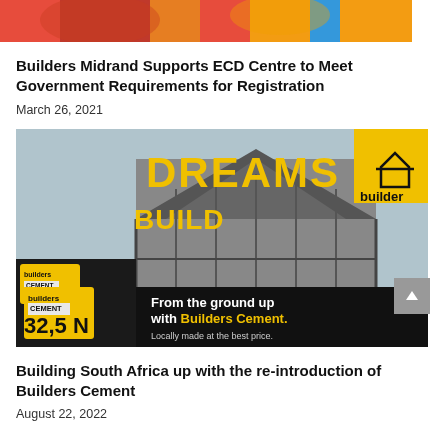[Figure (photo): Top portion of a colorful image showing red and orange fabric/decorations and colorful background]
Builders Midrand Supports ECD Centre to Meet Government Requirements for Registration
March 26, 2021
[Figure (photo): Builders Cement advertisement showing a house under construction in black and white with yellow 'DREAMS' and 'BUILD' text, Builders logo in yellow, cement bags labeled 32,5N, and black banner reading 'From the ground up with Builders Cement. Locally made at the best price.']
Building South Africa up with the re-introduction of Builders Cement
August 22, 2022